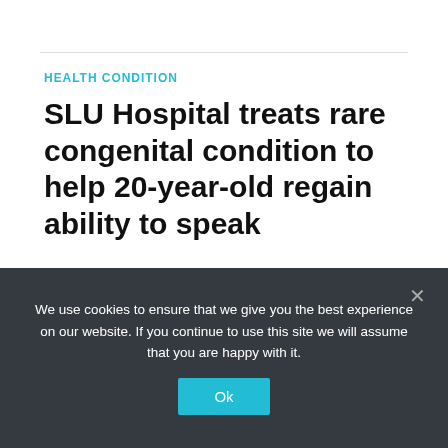HEALTH CONDITION
SLU Hospital treats rare congenital condition to help 20-year-old regain ability to speak
ST. LOUIS, Mo. (KMOV) — Throughout 20-year-old Janiyah Horne's life, she was never able to make a sound higher than a whisper using her voice."I tried to speak louder, but…
We use cookies to ensure that we give you the best experience on our website. If you continue to use this site we will assume that you are happy with it.